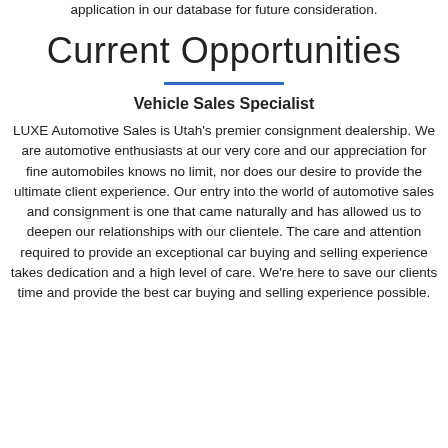application in our database for future consideration.
Current Opportunities
Vehicle Sales Specialist
LUXE Automotive Sales is Utah's premier consignment dealership. We are automotive enthusiasts at our very core and our appreciation for fine automobiles knows no limit, nor does our desire to provide the ultimate client experience. Our entry into the world of automotive sales and consignment is one that came naturally and has allowed us to deepen our relationships with our clientele. The care and attention required to provide an exceptional car buying and selling experience takes dedication and a high level of care. We're here to save our clients time and provide the best car buying and selling experience possible.